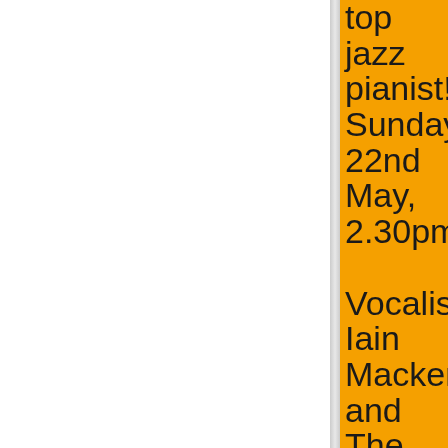top jazz pianist! Sunday 22nd May, 2.30pm. Vocalist Iain Mackenzie and The High Spirits Quintet Featuring Alan Barnes (saxes), David